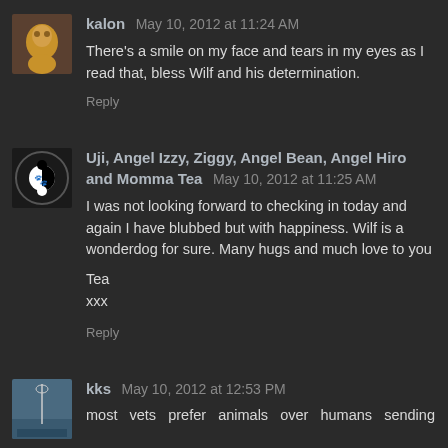kalon May 10, 2012 at 11:24 AM
There's a smile on my face and tears in my eyes as I read that, bless Wilf and his determination.
Reply
Uji, Angel Izzy, Ziggy, Angel Bean, Angel Hiro and Momma Tea May 10, 2012 at 11:25 AM
I was not looking forward to checking in today and again I have blubbed but with happiness. Wilf is a wonderdog for sure. Many hugs and much love to you
Tea
xxx
Reply
kks May 10, 2012 at 12:53 PM
most vets prefer animals over humans sending